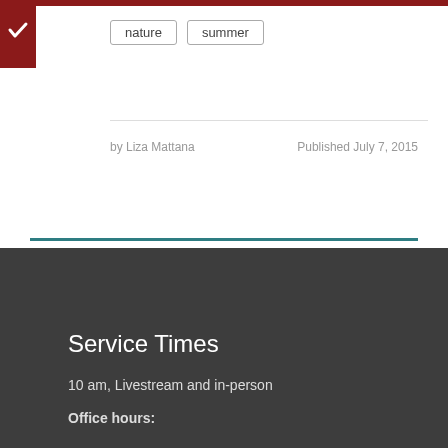nature  summer
by Liza Mattana
Published July 7, 2015
Service Times
10 am, Livestream and in-person
Office hours: